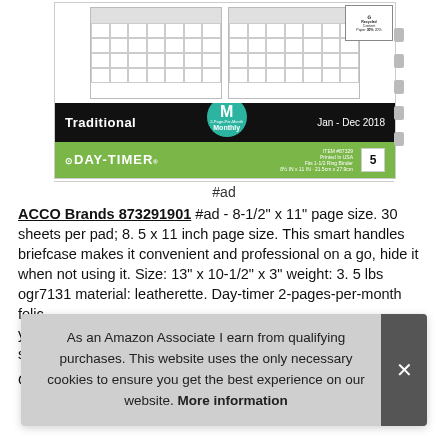[Figure (photo): Product photo of Day-Timer Traditional 2-Page-Per-Month Monthly planner refill, Jan-Dec 2018, size 5, 8.5x11 in, with blue and green packaging and calendar grid visible]
#ad
ACCO Brands 873291901 #ad - 8-1/2" x 11" page size. 30 sheets per pad; 8. 5 x 11 inch page size. This smart handles briefcase makes it convenient and professional on a go, hide it when not using it. Size: 13" x 10-1/2" x 3" weight: 3. 5 lbs ogr7131 material: leatherette. Day-timer 2-pages-per-month folic you star
Orga
As an Amazon Associate I earn from qualifying purchases. This website uses the only necessary cookies to ensure you get the best experience on our website. More information